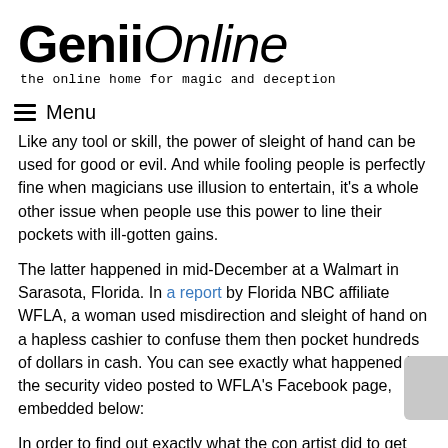[Figure (logo): Genii Online logo — bold 'Genii' in black with italic 'Online' beside it]
the online home for magic and deception
≡  Menu
Like any tool or skill, the power of sleight of hand can be used for good or evil. And while fooling people is perfectly fine when magicians use illusion to entertain, it's a whole other issue when people use this power to line their pockets with ill-gotten gains.
The latter happened in mid-December at a Walmart in Sarasota, Florida. In a report by Florida NBC affiliate WFLA, a woman used misdirection and sleight of hand on a hapless cashier to confuse them then pocket hundreds of dollars in cash. You can see exactly what happened in the security video posted to WFLA's Facebook page, embedded below:
In order to find out exactly what the con artist did to get away with this crime, WFLA found local Sarasota magician Toby Ballantine and showed him the video.
"She has a move and she's doing the move over and